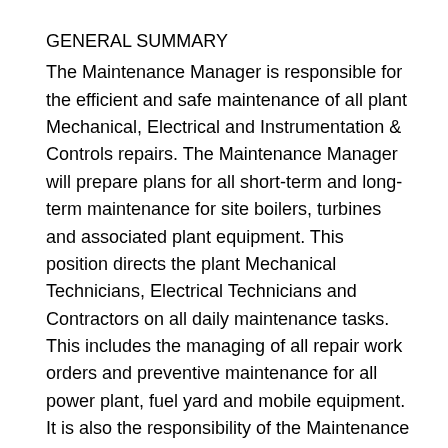GENERAL SUMMARY
The Maintenance Manager is responsible for the efficient and safe maintenance of all plant Mechanical, Electrical and Instrumentation & Controls repairs. The Maintenance Manager will prepare plans for all short-term and long-term maintenance for site boilers, turbines and associated plant equipment. This position directs the plant Mechanical Technicians, Electrical Technicians and Contractors on all daily maintenance tasks. This includes the managing of all repair work orders and preventive maintenance for all power plant, fuel yard and mobile equipment. It is also the responsibility of the Maintenance Manager to ensure compliance with all local, state and federal regulatory environmental and safety programs. The Maintenance Manager works closely with the Operations Manager to develop and maintain a high-quality work environment to maintain100% safety and